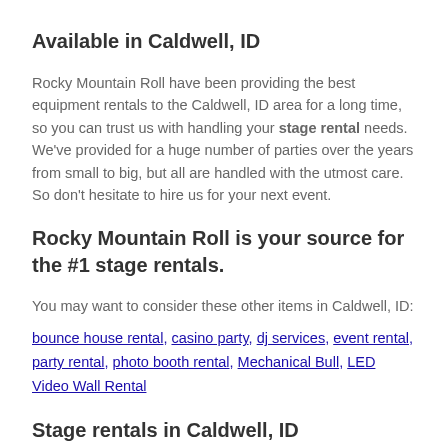Available in Caldwell, ID
Rocky Mountain Roll have been providing the best equipment rentals to the Caldwell, ID area for a long time, so you can trust us with handling your stage rental needs. We've provided for a huge number of parties over the years from small to big, but all are handled with the utmost care. So don't hesitate to hire us for your next event.
Rocky Mountain Roll is your source for the #1 stage rentals.
You may want to consider these other items in Caldwell, ID:
bounce house rental, casino party, dj services, event rental, party rental, photo booth rental, Mechanical Bull, LED Video Wall Rental
Stage rentals in Caldwell, ID
In addition to offering #1 stage rentals in Caldwell, ID, we also offer: bounce house rental. So if your children are